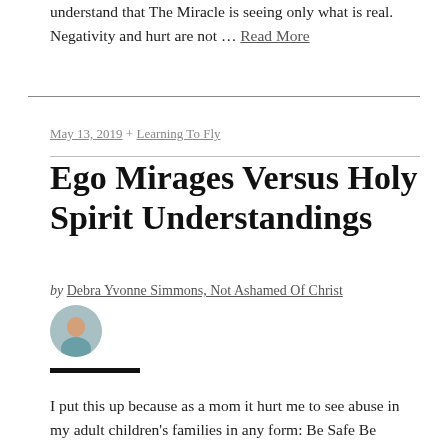understand that The Miracle is seeing only what is real. Negativity and hurt are not … Read More
May 13, 2019 + Learning To Fly
Ego Mirages Versus Holy Spirit Understandings
by Debra Yvonne Simmons, Not Ashamed Of Christ
[Figure (photo): Small circular author avatar photo]
I put this up because as a mom it hurt me to see abuse in my adult children's families in any form: Be Safe Be Honest Be Respectful To Self To Things